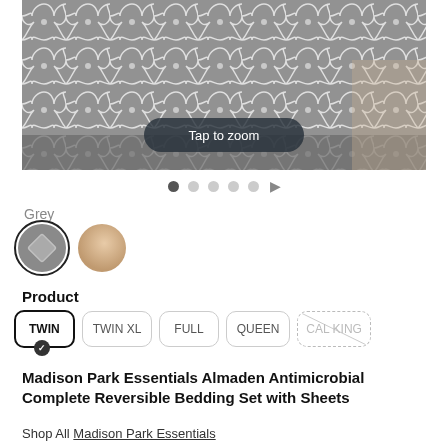[Figure (photo): Grey and white lattice/quatrefoil patterned comforter on a bed, with 'Tap to zoom' overlay button. Navigation dots below the image.]
Grey
[Figure (other): Two circular color swatches: grey (selected, with outline) and tan/beige]
Product
TWIN  TWIN XL  FULL  QUEEN  CAL KING
Madison Park Essentials Almaden Antimicrobial Complete Reversible Bedding Set with Sheets
Shop All Madison Park Essentials